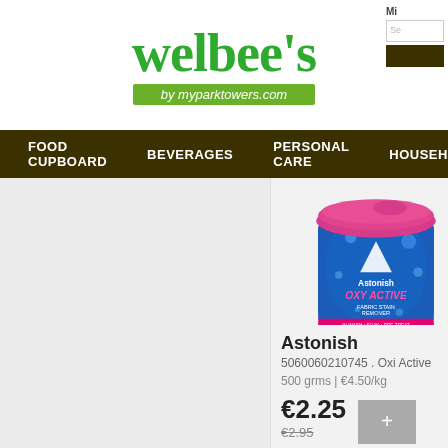[Figure (logo): Welbee's logo with tagline 'by myparktowers.com' on green background]
FOOD CUPBOARD   BEVERAGES   PERSONAL CARE   HOUSEHOLD
[Figure (photo): Astonish Oxi Active Fabric Stain Remover 500g tub with pink lid and blue label]
Astonish
5060060210745 . Oxi Active
500 grms | €4.50/kg
€2.25
€2.95
As
50 Re
1.6
€